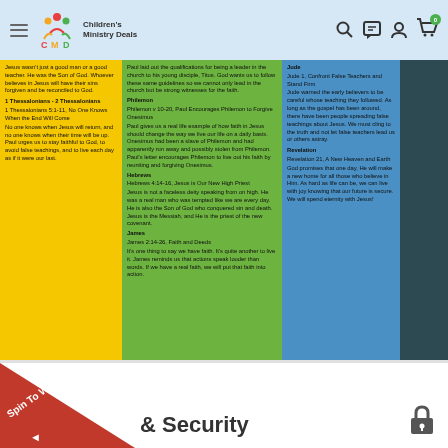Children's Ministry Deals
[Figure (screenshot): Children's Ministry Deals website screenshot showing colored content columns with Bible book summaries (yellow, green, blue columns) on dark teal background]
& Security
[Figure (infographic): Red triangle Spin To Win promotional overlay in bottom left corner]